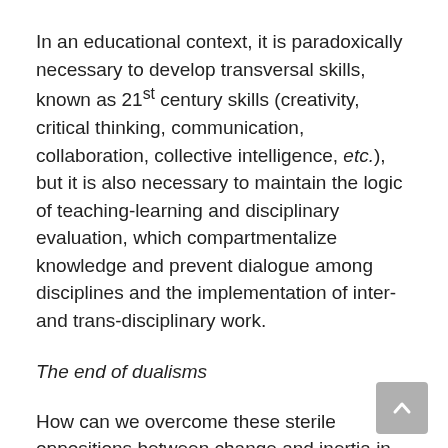In an educational context, it is paradoxically necessary to develop transversal skills, known as 21st century skills (creativity, critical thinking, communication, collaboration, collective intelligence, etc.), but it is also necessary to maintain the logic of teaching-learning and disciplinary evaluation, which compartmentalize knowledge and prevent dialogue among disciplines and the implementation of inter- and trans-disciplinary work.
The end of dualisms
How can we overcome these sterile oppositions between change and inertia in the